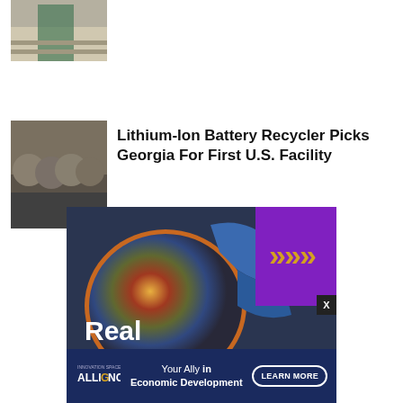[Figure (photo): Thumbnail image of a person in a warehouse or industrial setting, partially cropped at top]
[Figure (photo): Group of people in business attire standing together, likely at an official event]
Lithium-Ion Battery Recycler Picks Georgia For First U.S. Facility
[Figure (photo): Advertisement image showing a semiconductor wafer being held with blue gloves, with golden chevron arrows on purple background and text 'Real' visible. Below is an Alliance for Innovation & Growth banner reading 'Your Ally in Economic Development' with a LEARN MORE button.]